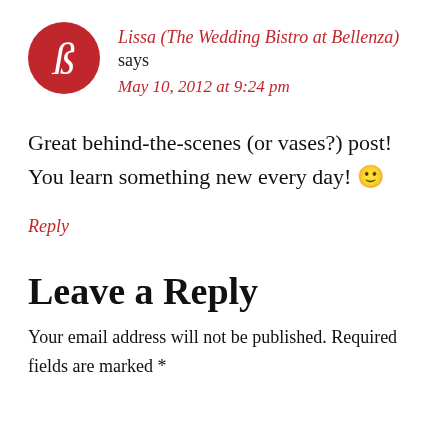[Figure (illustration): Red circular avatar with a stylized white letter B in script font]
Lissa (The Wedding Bistro at Bellenza) says
May 10, 2012 at 9:24 pm
Great behind-the-scenes (or vases?) post! You learn something new every day! 🙂
Reply
Leave a Reply
Your email address will not be published. Required fields are marked *